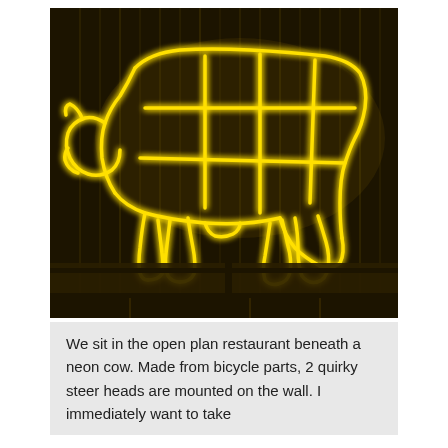[Figure (photo): A neon light sculpture of a cow (butcher diagram style) with yellow/golden neon tubes forming the outline and internal cut sections of a cow, mounted against a dark background with vertical streaks of light. The cow is facing left with its head down.]
We sit in the open plan restaurant beneath a neon cow. Made from bicycle parts, 2 quirky steer heads are mounted on the wall. I immediately want to take